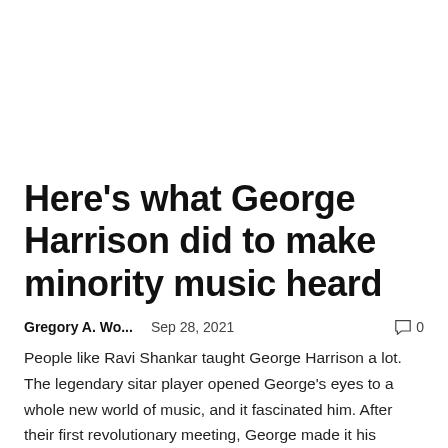Here's what George Harrison did to make minority music heard
Gregory A. Wo...    Sep 28, 2021    💬 0
People like Ravi Shankar taught George Harrison a lot. The legendary sitar player opened George's eyes to a whole new world of music, and it fascinated him. After their first revolutionary meeting, George made it his mission to...